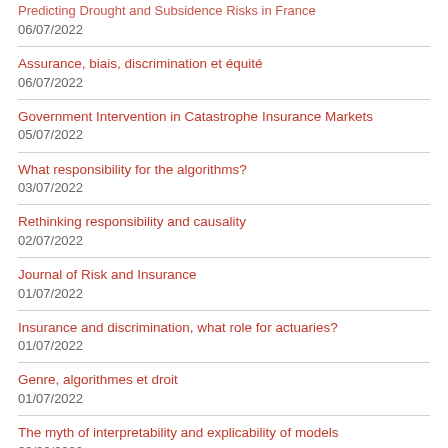Predicting Drought and Subsidence Risks in France
06/07/2022
Assurance, biais, discrimination et équité
06/07/2022
Government Intervention in Catastrophe Insurance Markets
05/07/2022
What responsibility for the algorithms?
03/07/2022
Rethinking responsibility and causality
02/07/2022
Journal of Risk and Insurance
01/07/2022
Insurance and discrimination, what role for actuaries?
01/07/2022
Genre, algorithmes et droit
01/07/2022
The myth of interpretability and explicability of models
30/06/2022